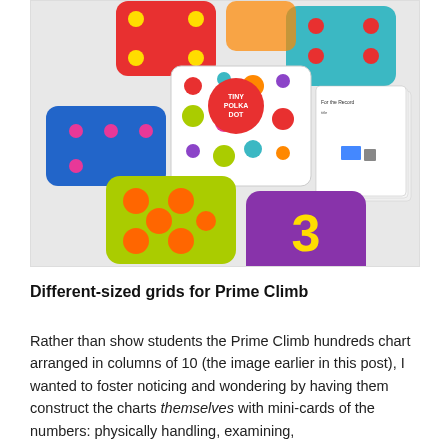[Figure (photo): Photo of Tiny Polka Dot card game components: colorful cards with dot patterns in red, blue, green, teal, orange, and purple colors, plus a polka-dot box with the Tiny Polka Dot logo, and a purple card showing the number 3 in yellow.]
Different-sized grids for Prime Climb
Rather than show students the Prime Climb hundreds chart arranged in columns of 10 (the image earlier in this post), I wanted to foster noticing and wondering by having them construct the charts themselves with mini-cards of the numbers: physically handling, examining,